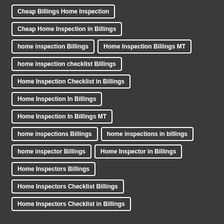Cheap Billings Home Inspection
Cheap Home Inspection in Billings
home inspection Billings
Home Inspection Billings MT
home inspection checklist Billings
Home Inspection Checklist in Billings
Home Inspection In Billings
Home Inspection In Billings MT
home inspections Billings
home inspections in billings
home inspector Billings
Home Inspector in Billings
Home Inspectors Billings
Home Inspectors Checklist Billings
Home Inspectors Checklist in Billings